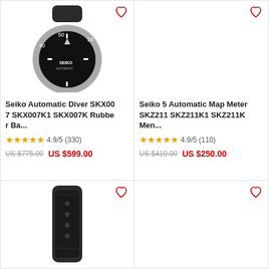[Figure (photo): Seiko automatic diver watch with black dial and rubber strap, shown at angle]
[Figure (photo): Empty product image area for Seiko 5 Automatic Map Meter watch (right column top)]
Seiko Automatic Diver SKX007 SKX007K1 SKX007K Rubber Ba...
★★★★★ 4.9/5 (330)
US $775.00  US $599.00
Seiko 5 Automatic Map Meter SKZ211 SKZ211K1 SKZ211K Men...
★★★★★ 4.9/5 (110)
US $410.00  US $250.00
[Figure (photo): Watch strap / band component shown in bottom-left cell]
[Figure (photo): Empty product image area in bottom-right cell]